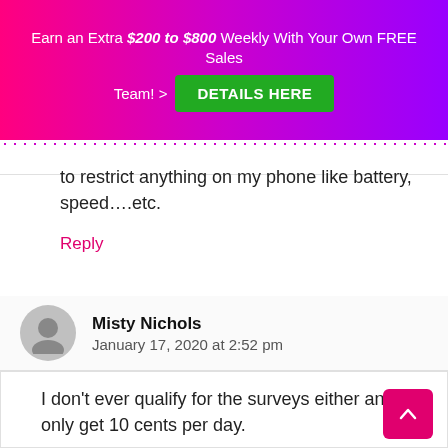Earn an Extra $200 to $800 Weekly With Your Own FREE Sales Team! > DETAILS HERE
to restrict anything on my phone like battery, speed....etc.
Reply
Misty Nichols
January 17, 2020 at 2:52 pm
I don't ever qualify for the surveys either and only get 10 cents per day.